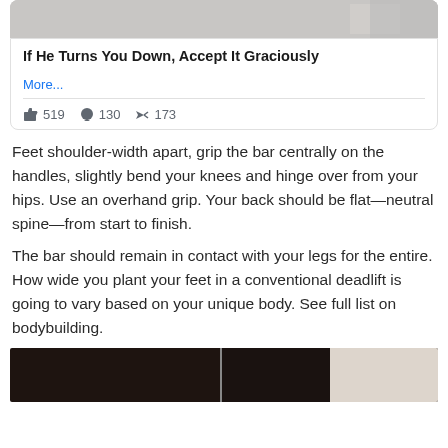[Figure (screenshot): Cropped top of a social media card showing a photo]
If He Turns You Down, Accept It Graciously
More...
👍 519  💬 130  ➤ 173
Feet shoulder-width apart, grip the bar centrally on the handles, slightly bend your knees and hinge over from your hips. Use an overhand grip. Your back should be flat—neutral spine—from start to finish.
The bar should remain in contact with your legs for the entire. How wide you plant your feet in a conventional deadlift is going to vary based on your unique body. See full list on bodybuilding.
[Figure (photo): Bottom portion of a photo showing a dark interior scene, split into two panels]